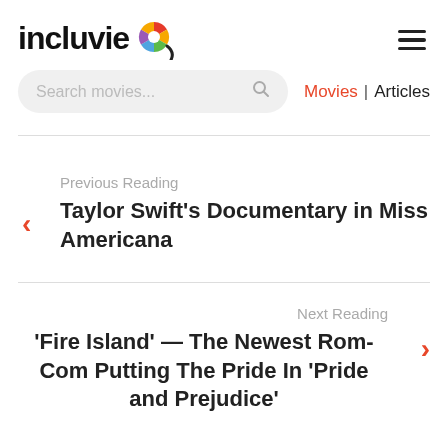incluvie
Search movies... | Movies | Articles
Previous Reading
Taylor Swift's Documentary in Miss Americana
Next Reading
'Fire Island' — The Newest Rom-Com Putting The Pride In 'Pride and Prejudice'